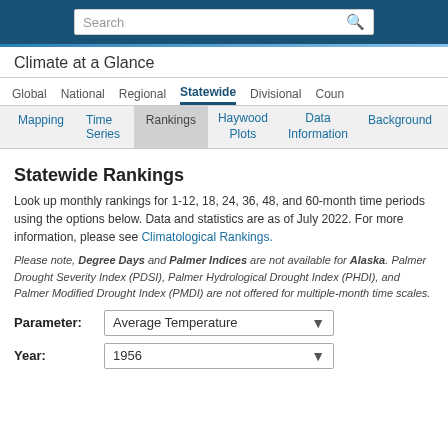Search
Climate at a Glance
Global | National | Regional | Statewide | Divisional | Coun
Mapping | Time Series | Rankings | Haywood Plots | Data Information | Background
Statewide Rankings
Look up monthly rankings for 1-12, 18, 24, 36, 48, and 60-month time periods using the options below. Data and statistics are as of July 2022. For more information, please see Climatological Rankings.
Please note, Degree Days and Palmer Indices are not available for Alaska. Palmer Drought Severity Index (PDSI), Palmer Hydrological Drought Index (PHDI), and Palmer Modified Drought Index (PMDI) are not offered for multiple-month time scales.
Parameter: Average Temperature
Year: 1956